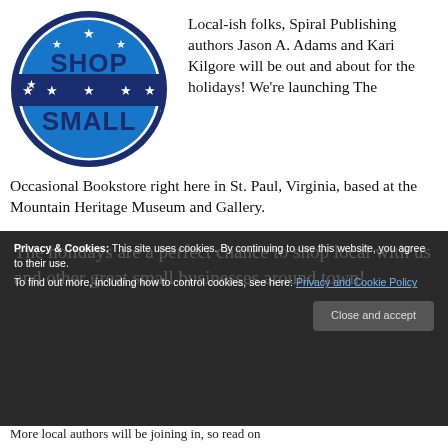[Figure (logo): Shop Small circular logo with blue and navy colors, stars, and diagonal stripe]
Local-ish folks, Spiral Publishing authors Jason A. Adams and Kari Kilgore will be out and about for the holidays! We're launching The Occasional Bookstore right here in St. Paul, Virginia, based at the Mountain Heritage Museum and Gallery.
Privacy & Cookies: This site uses cookies. By continuing to use this website, you agree to their use. To find out more, including how to control cookies, see here: Privacy and Cookie Policy
The holidays are a perfect chance to shop local with us and other great small businesses around town!
Close and accept
More local authors will be joining in, so read on